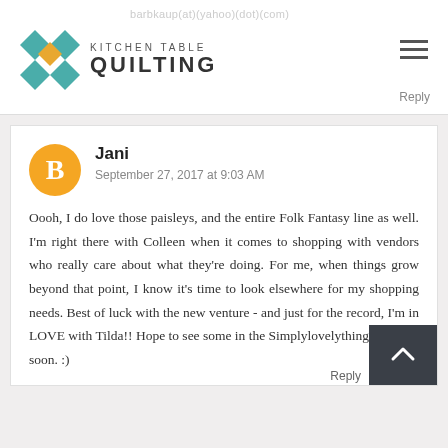barbkaup(at)(yahoo)(dot)(com) — Kitchen Table Quilting
[Figure (logo): Kitchen Table Quilting logo with quilt-block icon and text]
Jani
September 27, 2017 at 9:03 AM

Oooh, I do love those paisleys, and the entire Folk Fantasy line as well. I'm right there with Colleen when it comes to shopping with vendors who really care about what they're doing. For me, when things grow beyond that point, I know it's time to look elsewhere for my shopping needs. Best of luck with the new venture - and just for the record, I'm in LOVE with Tilda!! Hope to see some in the SimplylovelythingsCo shop soon. :)